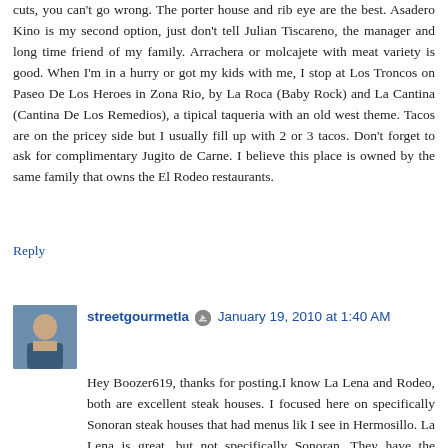cuts, you can't go wrong. The porter house and rib eye are the best. Asadero Kino is my second option, just don't tell Julian Tiscareno, the manager and long time friend of my family. Arrachera or molcajete with meat variety is good. When I'm in a hurry or got my kids with me, I stop at Los Troncos on Paseo De Los Heroes in Zona Rio, by La Roca (Baby Rock) and La Cantina (Cantina De Los Remedios), a tipical taqueria with an old west theme. Tacos are on the pricey side but I usually fill up with 2 or 3 tacos. Don't forget to ask for complimentary Jugito de Carne. I believe this place is owned by the same family that owns the El Rodeo restaurants.
Reply
streetgourmetla
January 19, 2010 at 1:40 AM
Hey Boozer619, thanks for posting.I know La Lena and Rodeo, both are excellent steak houses. I focused here on specifically Sonoran steak houses that had menus lik I see in Hermosillo. La Lena is great, but not specifically Sonoran. They have the arrachera, etc., but...